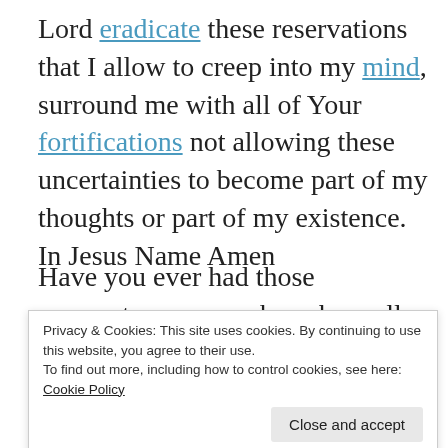Lord eradicate these reservations that I allow to creep into my mind, surround me with all of Your fortifications not allowing these uncertainties to become part of my thoughts or part of my existence. In Jesus Name Amen
Have you ever had those moments, even weeks, where all you want to do is scream at God and say why; why are you doing this to me. I think if we are honest with ourselves we can all say yes, these times make us feel like God hates us. We need to remember
Privacy & Cookies: This site uses cookies. By continuing to use this website, you agree to their use.
To find out more, including how to control cookies, see here: Cookie Policy
the good things that He has done for you and praise